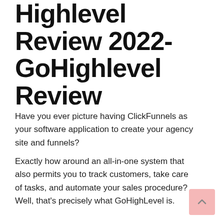Short Go Highlevel Review 2022- GoHighlevel Review
Have you ever picture having ClickFunnels as your software application to create your agency site and funnels?
Exactly how around an all-in-one system that also permits you to track customers, take care of tasks, and automate your sales procedure? Well, that's precisely what GoHighLevel is.